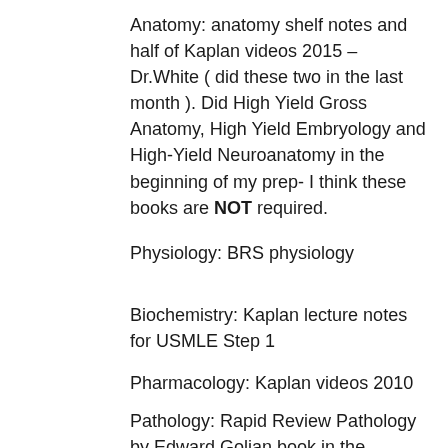Anatomy: anatomy shelf notes and half of Kaplan videos 2015 – Dr.White ( did these two in the last month ). Did High Yield Gross Anatomy, High Yield Embryology and High-Yield Neuroanatomy in the beginning of my prep- I think these books are NOT required.
Physiology: BRS physiology
Biochemistry: Kaplan lecture notes for USMLE Step 1
Pharmacology: Kaplan videos 2010
Pathology: Rapid Review Pathology by Edward Goljan book in the beginning of prep